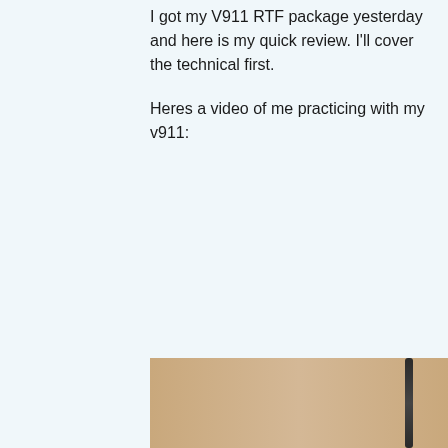I got my V911 RTF package yesterday and here is my quick review. I'll cover the technical first.
Heres a video of me practicing with my v911:
[Figure (photo): Photo showing a wooden table surface with a dark antenna or stick-like object visible on the right side]